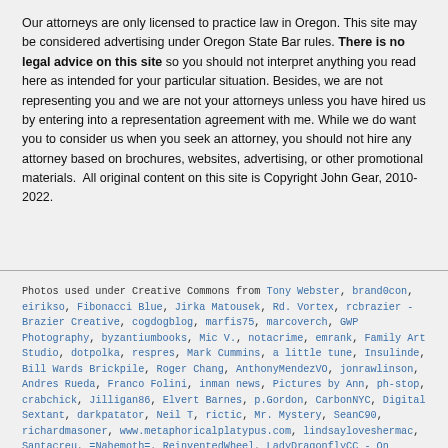Our attorneys are only licensed to practice law in Oregon. This site may be considered advertising under Oregon State Bar rules. There is no legal advice on this site so you should not interpret anything you read here as intended for your particular situation. Besides, we are not representing you and we are not your attorneys unless you have hired us by entering into a representation agreement with me. While we do want you to consider us when you seek an attorney, you should not hire any attorney based on brochures, websites, advertising, or other promotional materials.  All original content on this site is Copyright John Gear, 2010-2022.
Photos used under Creative Commons from Tony Webster, brand0con, eirikso, Fibonacci Blue, Jirka Matousek, Rd. Vortex, rcbrazier - Brazier Creative, cogdogblog, marfis75, marcoverch, GWP Photography, byzantiumbooks, Mic V., notacrime, emrank, Family Art Studio, dotpolka, respres, Mark Cummins, a little tune, Insulinde, Bill Wards Brickpile, Roger Chang, AnthonyMendezVO, jonrawlinson, Andres Rueda, Franco Folini, inman news, Pictures by Ann, ph-stop, crabchick, Jilligan86, Elvert Barnes, p.Gordon, CarbonNYC, Digital Sextant, darkpatator, Neil T, rictic, Mr. Mystery, SeanC90, richardmasoner, www.metaphoricalplatypus.com, lindsayloveshermac, Santacreu, =Nahemoth=, ReinventedWheel, LadyDragonflyCC - On Vacation, See you all soon!, Mr. T in DC, Nisha A, markcbrennan, Celestine Chua, Furryscaly, smkybear, CarbonNYC, radioedit, Don Hankins, Henrik Hovhannisyan, CoreBurn, Mike Licht, NotionsCapital.com, David Masters, SeeMidTN.com (aka Brent), SoulRider.222, amboo who?, mbtwest, Rob Ellis', floeschie, Key